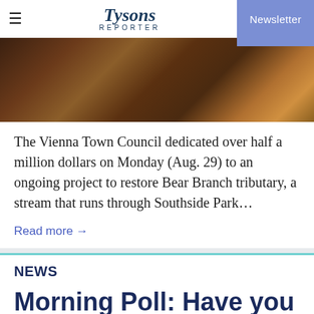Tysons Reporter | Newsletter
[Figure (photo): Close-up photograph of a natural stream or rocky ground with earthy brown, dark, and amber tones — likely Bear Branch tributary or Southside Park environment.]
The Vienna Town Council dedicated over half a million dollars on Monday (Aug. 29) to an ongoing project to restore Bear Branch tributary, a stream that runs through Southside Park...
Read more →
NEWS
Morning Poll: Have you had trouble getting trash